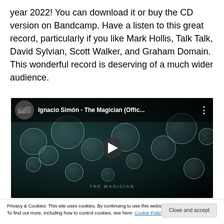year 2022! You can download it or buy the CD version on Bandcamp. Have a listen to this great record, particularly if you like Mark Hollis, Talk Talk, David Sylvian, Scott Walker, and Graham Domain. This wonderful record is deserving of a much wider audience.
[Figure (screenshot): YouTube video thumbnail for 'Ignacio Simón - The Magician (Offic...' showing dark teal background with bubble/jellyfish-like organisms, play button in center, channel icon and title in top bar with three-dot menu.]
Privacy & Cookies: This site uses cookies. By continuing to use this website, you agree to their use.
To find out more, including how to control cookies, see here: Cookie Policy
Close and accept